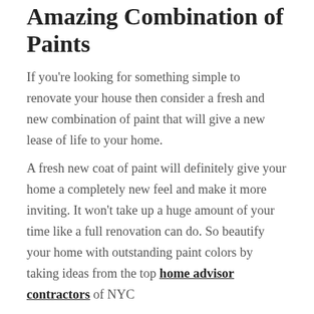Amazing Combination of Paints
If you're looking for something simple to renovate your house then consider a fresh and new combination of paint that will give a new lease of life to your home.
A fresh new coat of paint will definitely give your home a completely new feel and make it more inviting. It won't take up a huge amount of your time like a full renovation can do. So beautify your home with outstanding paint colors by taking ideas from the top home advisor contractors of NYC
3)  Decide the Time & Budget
Planning & then sticking to the time and budget you have decided is one of the difficult & the most important task while remodeling your home or office. If you head into a renovation with nothing more than a vague idea of what you want then you really don't have any idea of what it will going to cost you.